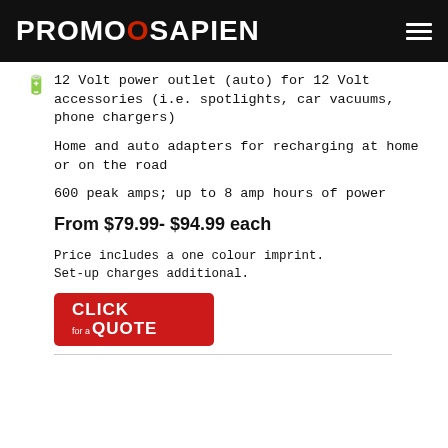PROMOSAPIEN
12 Volt power outlet (auto) for 12 Volt accessories (i.e. spotlights, car vacuums, phone chargers)
Home and auto adapters for recharging at home or on the road
600 peak amps; up to 8 amp hours of power
From $79.99- $94.99 each
Price includes a one colour imprint. Set-up charges additional.
[Figure (other): Red 'Click for a Quote' button]